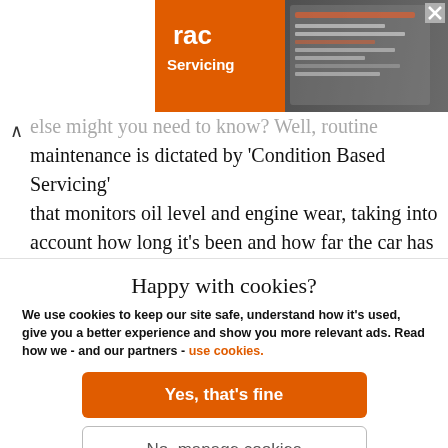[Figure (photo): RAC Servicing advertisement banner showing a person holding a colorful document/checklist, with RAC Servicing orange logo on the left and an X close button on the top right]
else might you need to know? Well, routine maintenance is dictated by 'Condition Based Servicing' that monitors oil level and engine wear, taking into account how long it's been and how far the car has travelled since its previous garage visit. You can check all of this using menus in the 'iDrive' centre-dash display and the car will give you four weeks' notice of when a
Happy with cookies?
We use cookies to keep our site safe, understand how it's used, give you a better experience and show you more relevant ads. Read how we - and our partners - use cookies.
Yes, that's fine
No, manage cookies